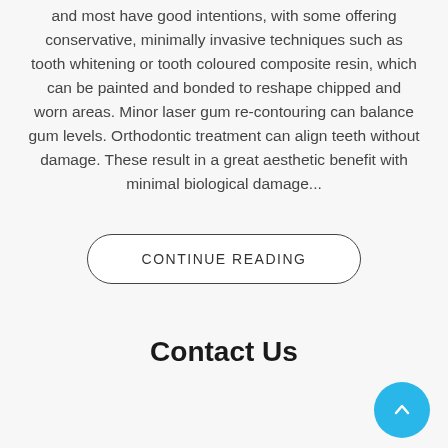and most have good intentions, with some offering conservative, minimally invasive techniques such as tooth whitening or tooth coloured composite resin, which can be painted and bonded to reshape chipped and worn areas. Minor laser gum re-contouring can balance gum levels. Orthodontic treatment can align teeth without damage. These result in a great aesthetic benefit with minimal biological damage...
CONTINUE READING
Contact Us